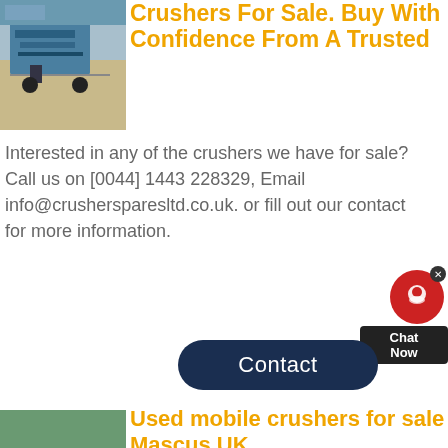[Figure (photo): Photo of a crushing machine/equipment at a quarry site, top left]
Crushers For Sale. Buy With Confidence From A Trusted
Interested in any of the crushers we have for sale? Call us on [0044] 1443 228329, Email info@crushersparesltd.co.uk. or fill out our contact for more information.
[Figure (screenshot): Chat Now widget with red chat bubble and dark label]
Contact
[Figure (photo): Photo of a mobile crusher machine at a quarry/field site, bottom left]
Used mobile crushers for sale Mascus UK
Used mobile crushers for sale. Below you can find the full list of ads of used mobile crushers machines from construction sector. Click all brands of used